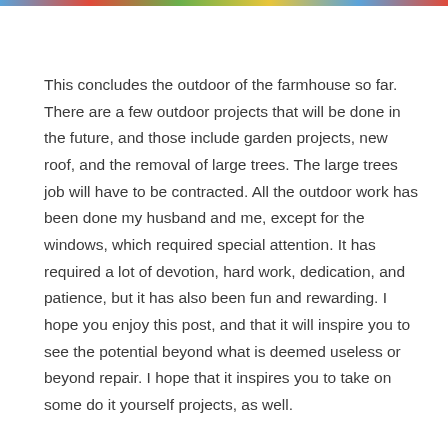[Figure (photo): Colorful image strip at the top of the page, partially cropped]
This concludes the outdoor of the farmhouse so far. There are a few outdoor projects that will be done in the future, and those include garden projects, new roof, and the removal of large trees. The large trees job will have to be contracted. All the outdoor work has been done my husband and me, except for the windows, which required special attention. It has required a lot of devotion, hard work, dedication, and patience, but it has also been fun and rewarding. I hope you enjoy this post, and that it will inspire you to see the potential beyond what is deemed useless or beyond repair. I hope that it inspires you to take on some do it yourself projects, as well.